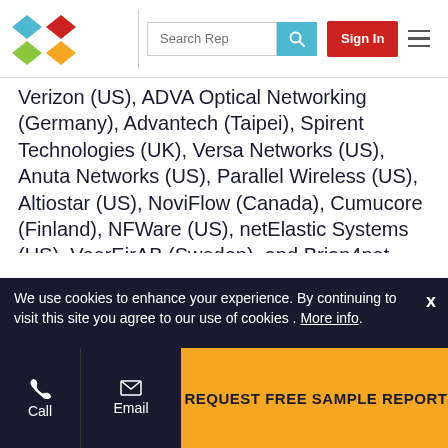Search Rep | Sign In
Verizon (US), ADVA Optical Networking (Germany), Advantech (Taipei), Spirent Technologies (UK), Versa Networks (US), Anuta Networks (US), Parallel Wireless (US), Altiostar (US), NoviFlow (Canada), Cumucore (Finland), NFWare (US), netElastic Systems (US), VoerEirAB (Sweden), and Brian4net (Russia). These players have adopted various strategies to grow in the global offering virtual customer premises equipment market. The study includes an in-depth competitive analysis of these key players in the offering market with their company profiles, recent developments, and key market strategies.
We use cookies to enhance your experience. By continuing to visit this site you agree to our use of cookies . More info.
REQUEST FREE SAMPLE REPORT